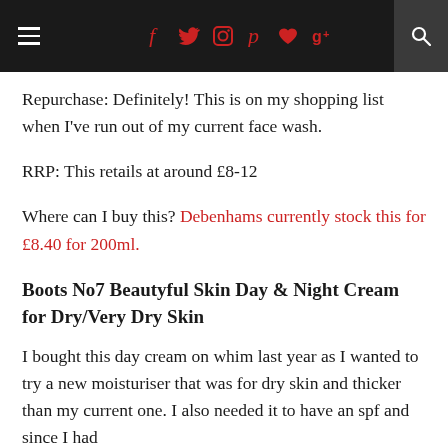≡  [social icons: facebook, twitter, instagram, pinterest, bloglovin, google+]  [search]
Repurchase: Definitely! This is on my shopping list when I've run out of my current face wash.
RRP: This retails at around £8-12
Where can I buy this? Debenhams currently stock this for £8.40 for 200ml.
Boots No7 Beautyful Skin Day & Night Cream for Dry/Very Dry Skin
I bought this day cream on whim last year as I wanted to try a new moisturiser that was for dry skin and thicker than my current one. I also needed it to have an spf and since I had